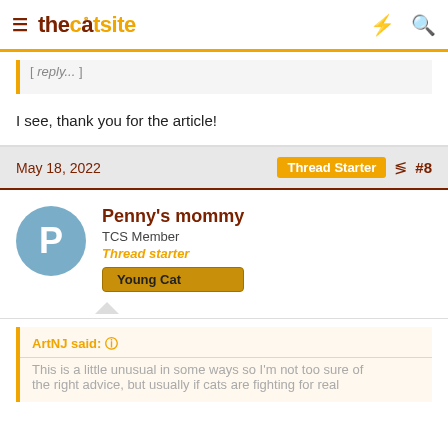thecatsite
I see, thank you for the article!
May 18, 2022  Thread Starter  #8
Penny's mommy
TCS Member
Thread starter
Young Cat
ArtNJ said:
This is a little unusual in some ways so I'm not too sure of the right advice, but usually if cats are fighting for real